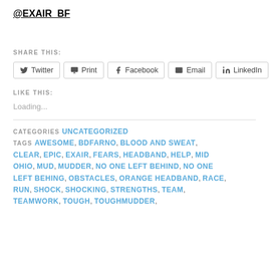@EXAIR_BF
SHARE THIS:
Twitter  Print  Facebook  Email  LinkedIn
LIKE THIS:
Loading...
CATEGORIES UNCATEGORIZED
TAGS AWESOME, BDFARNO, BLOOD AND SWEAT, CLEAR, EPIC, EXAIR, FEARS, HEADBAND, HELP, MID OHIO, MUD, MUDDER, NO ONE LEFT BEHIND, NO ONE LEFT BEHING, OBSTACLES, ORANGE HEADBAND, RACE, RUN, SHOCK, SHOCKING, STRENGTHS, TEAM, TEAMWORK, TOUGH, TOUGHMUDDER,